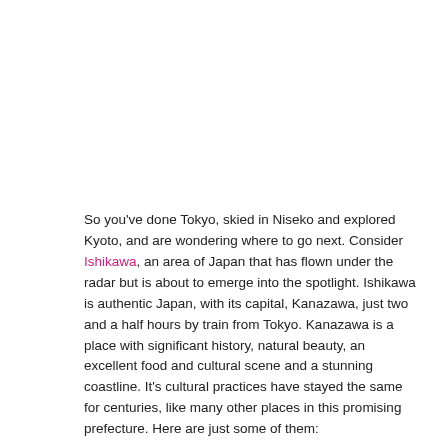So you've done Tokyo, skied in Niseko and explored Kyoto, and are wondering where to go next. Consider Ishikawa, an area of Japan that has flown under the radar but is about to emerge into the spotlight. Ishikawa is authentic Japan, with its capital, Kanazawa, just two and a half hours by train from Tokyo. Kanazawa is a place with significant history, natural beauty, an excellent food and cultural scene and a stunning coastline. It's cultural practices have stayed the same for centuries, like many other places in this promising prefecture. Here are just some of them:
Kanazawa